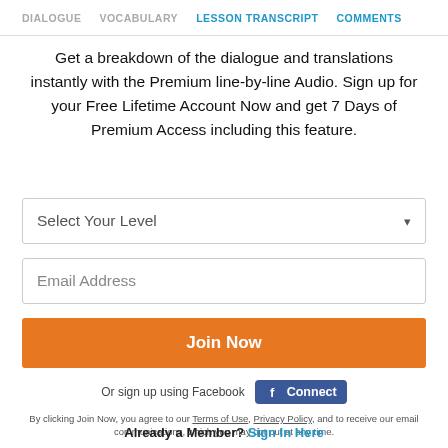DIALOGUE   VOCABULARY   LESSON TRANSCRIPT   COMMENTS
Get a breakdown of the dialogue and translations instantly with the Premium line-by-line Audio. Sign up for your Free Lifetime Account Now and get 7 Days of Premium Access including this feature.
Select Your Level
Email Address
Join Now
Or sign up using Facebook   Connect
By clicking Join Now, you agree to our Terms of Use, Privacy Policy, and to receive our email communications, which you may opt out at any time.
Already a Member? Sign In Here